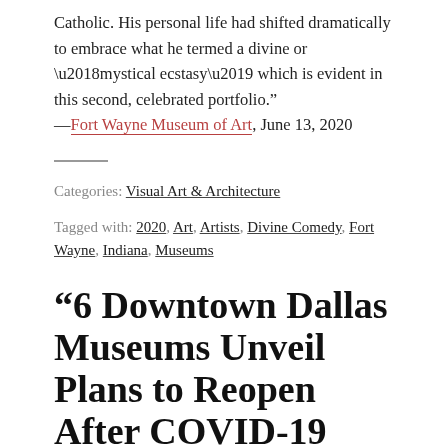Catholic. His personal life had shifted dramatically to embrace what he termed a divine or ‘mystical ecstasy’ which is evident in this second, celebrated portfolio.” —Fort Wayne Museum of Art, June 13, 2020
Categories: Visual Art & Architecture
Tagged with: 2020, Art, Artists, Divine Comedy, Fort Wayne, Indiana, Museums
“6 Downtown Dallas Museums Unveil Plans to Reopen After COVID-19 Shutdown”